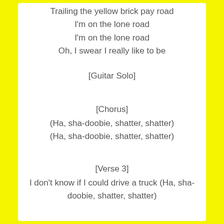Trailing the yellow brick pay road
I'm on the lone road
I'm on the lone road
Oh, I swear I really like to be
[Guitar Solo]
[Chorus]
(Ha, sha-doobie, shatter, shatter)
(Ha, sha-doobie, shatter, shatter)
[Verse 3]
I don't know if I could drive a truck (Ha, sha-doobie, shatter, shatter)